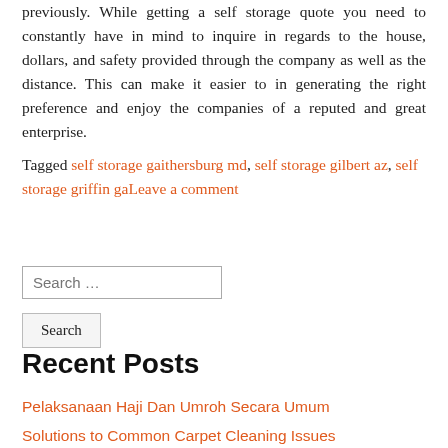previously. While getting a self storage quote you need to constantly have in mind to inquire in regards to the house, dollars, and safety provided through the company as well as the distance. This can make it easier to in generating the right preference and enjoy the companies of a reputed and great enterprise.
Tagged self storage gaithersburg md, self storage gilbert az, self storage griffin gaLeave a comment
Search …
Recent Posts
Pelaksanaan Haji Dan Umroh Secara Umum
Solutions to Common Carpet Cleaning Issues